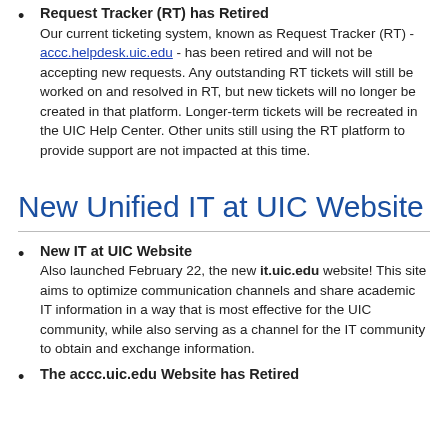Request Tracker (RT) has Retired
Our current ticketing system, known as Request Tracker (RT) - accc.helpdesk.uic.edu - has been retired and will not be accepting new requests. Any outstanding RT tickets will still be worked on and resolved in RT, but new tickets will no longer be created in that platform. Longer-term tickets will be recreated in the UIC Help Center. Other units still using the RT platform to provide support are not impacted at this time.
New Unified IT at UIC Website
New IT at UIC Website
Also launched February 22, the new it.uic.edu website! This site aims to optimize communication channels and share academic IT information in a way that is most effective for the UIC community, while also serving as a channel for the IT community to obtain and exchange information.
The accc.uic.edu Website has Retired